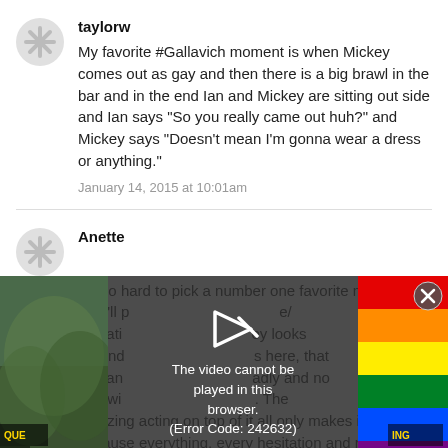[Figure (illustration): Grey asterisk/snowflake avatar icon for user taylorw]
taylorw
My favorite #Gallavich moment is when Mickey comes out as gay and then there is a big brawl in the bar and in the end Ian and Mickey are sitting out side and Ian says “So you really came out huh?” and Mickey says “Doesn’t mean I’m gonna wear a dress or anything.”
January 14, 2015 at 10:01am
[Figure (illustration): Grey asterisk/snowflake avatar icon for user Anette]
Anette
It’s so hard to pick a number one favorite moment, but I’ll p... liberation... ey looks around... s here, that he can... adly and no one wi.... The amazing acting on top of it all only makes it better, because everything, every hesitation and realization
[Figure (screenshot): Video player overlay showing error message: The video cannot be played in this browser. (Error Code: 242632) with play button icon and close X button, overlaid on thumbnails]